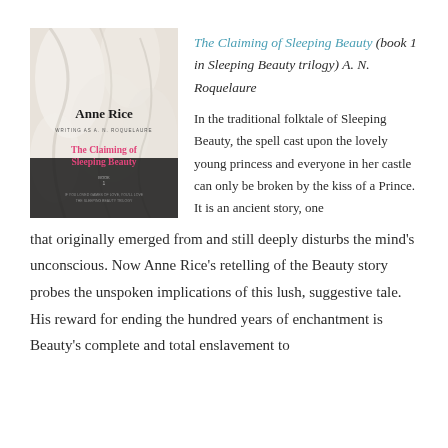[Figure (illustration): Book cover of 'The Claiming of Sleeping Beauty' by Anne Rice writing as A. N. Roquelaure. Features white/cream fabric background, bold black text 'Anne Rice' at top, pink text 'The Claiming of Sleeping Beauty' in the middle.]
The Claiming of Sleeping Beauty (book 1 in Sleeping Beauty trilogy) A. N. Roquelaure
In the traditional folktale of Sleeping Beauty, the spell cast upon the lovely young princess and everyone in her castle can only be broken by the kiss of a Prince. It is an ancient story, one that originally emerged from and still deeply disturbs the mind's unconscious. Now Anne Rice's retelling of the Beauty story probes the unspoken implications of this lush, suggestive tale.  His reward for ending the hundred years of enchantment is Beauty's complete and total enslavement to